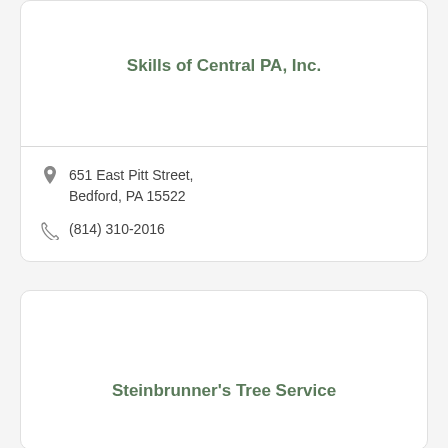Skills of Central PA, Inc.
651 East Pitt Street, Bedford, PA 15522
(814) 310-2016
Steinbrunner's Tree Service